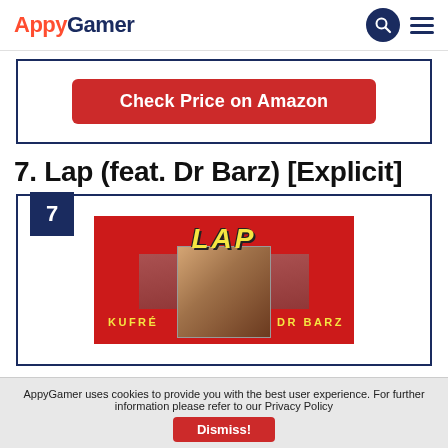AppyGamer
Check Price on Amazon
7. Lap (feat. Dr Barz) [Explicit]
[Figure (photo): Album art for 'Lap' featuring Kufré and Dr Barz on a red background with a woman in the center]
AppyGamer uses cookies to provide you with the best user experience. For further information please refer to our Privacy Policy
Dismiss!